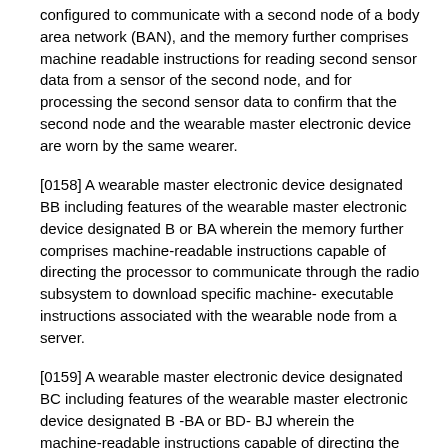configured to communicate with a second node of a body area network (BAN), and the memory further comprises machine readable instructions for reading second sensor data from a sensor of the second node, and for processing the second sensor data to confirm that the second node and the wearable master electronic device are worn by the same wearer.
[0158] A wearable master electronic device designated BB including features of the wearable master electronic device designated B or BA wherein the memory further comprises machine-readable instructions capable of directing the processor to communicate through the radio subsystem to download specific machine- executable instructions associated with the wearable node from a server.
[0159] A wearable master electronic device designated BC including features of the wearable master electronic device designated B -BA or BD- BJ wherein the machine-readable instructions capable of directing the processor to communicate through the BAN radio comprise machine-readable instructions for encrypting communications.